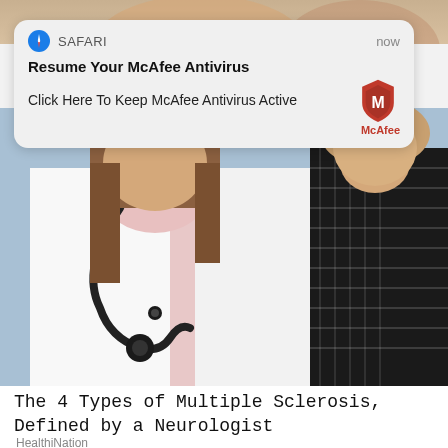[Figure (screenshot): Top portion of a cropped photo showing people, partially visible at the top of the screen]
[Figure (screenshot): iOS Safari push notification banner overlaid on screen. Shows Safari browser icon, app name SAFARI, time 'now', bold title 'Resume Your McAfee Antivirus', body text 'Click Here To Keep McAfee Antivirus Active', and McAfee shield logo on the right.]
[Figure (photo): Photo of a doctor in a white coat with a stethoscope standing next to a patient in a black and white patterned jacket. Blue background visible.]
The 4 Types of Multiple Sclerosis, Defined by a Neurologist
HealthiNation
[Figure (photo): Partial photo at the bottom of the screen showing the top of a person's head with brown hair, cropped off.]